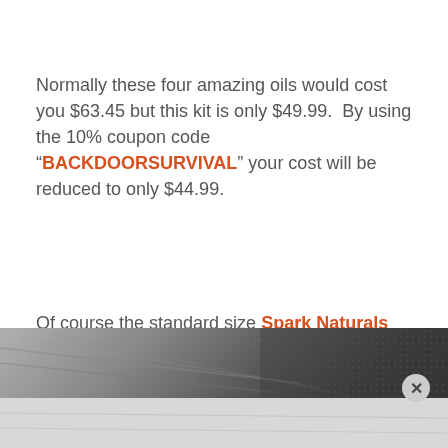Normally these four amazing oils would cost you $63.45 but this kit is only $49.99. By using the 10% coupon code "BACKDOORSURVIVAL" your cost will be reduced to only $44.99.
Of course the standard size Spark Naturals Essential 4 Pack is still available for $19.99 less your 10% discount.
[Figure (photo): Partially visible grayscale photo at the bottom of the page, showing what appears to be papers or fabric with a textured pattern. A close button (×) is visible in the lower right.]